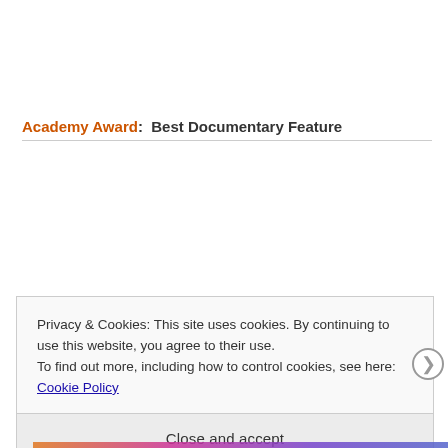Academy Award: Best Documentary Feature
Privacy & Cookies: This site uses cookies. By continuing to use this website, you agree to their use.
To find out more, including how to control cookies, see here: Cookie Policy
Close and accept